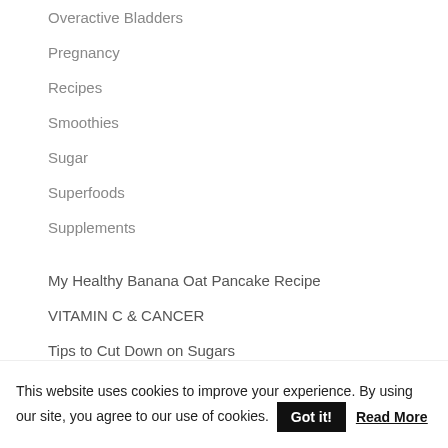Overactive Bladders
Pregnancy
Recipes
Smoothies
Sugar
Superfoods
Supplements
My Healthy Banana Oat Pancake Recipe
VITAMIN C & CANCER
Tips to Cut Down on Sugars
What is Grounding and How it May Help Improve Your Health?
This website uses cookies to improve your experience. By using our site, you agree to our use of cookies. Got it! Read More